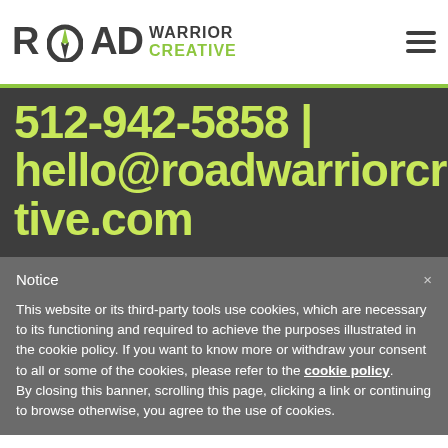[Figure (logo): Road Warrior Creative logo with compass icon and hamburger menu icon]
512-942-5858 | hello@roadwarriorcreative.com
Notice
This website or its third-party tools use cookies, which are necessary to its functioning and required to achieve the purposes illustrated in the cookie policy. If you want to know more or withdraw your consent to all or some of the cookies, please refer to the cookie policy. By closing this banner, scrolling this page, clicking a link or continuing to browse otherwise, you agree to the use of cookies.